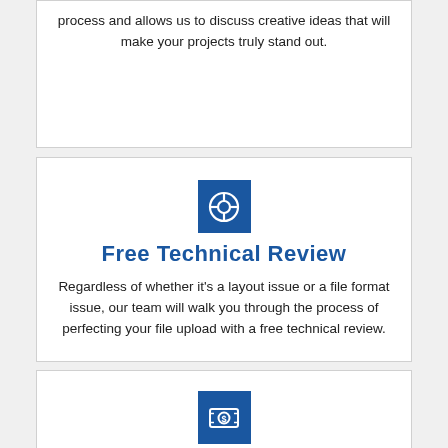process and allows us to discuss creative ideas that will make your projects truly stand out.
[Figure (illustration): Blue square icon with a life preserver / help ring symbol]
Free Technical Review
Regardless of whether it's a layout issue or a file format issue, our team will walk you through the process of perfecting your file upload with a free technical review.
[Figure (illustration): Blue square icon with a dollar bill / money symbol]
Great Prices
Our promise to use high-quality materials doesn't mean our prices will be extravagant. Spinn Print is proof you can receive great quality products at prices that are more than competitive.